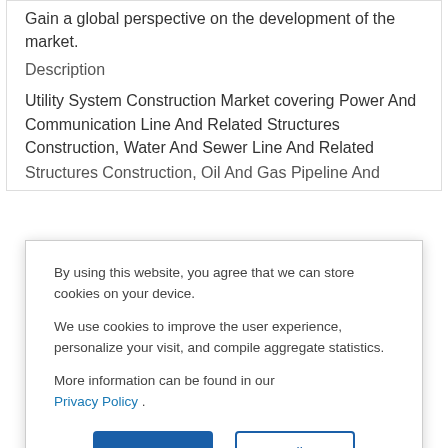Gain a global perspective on the development of the market.
Description
Utility System Construction Market covering Power And Communication Line And Related Structures Construction, Water And Sewer Line And Related Structures Construction, Oil And Gas Pipeline And
By using this website, you agree that we can store cookies on your device.

We use cookies to improve the user experience, personalize your visit, and compile aggregate statistics.

More information can be found in our Privacy Policy .
Accept
Decline